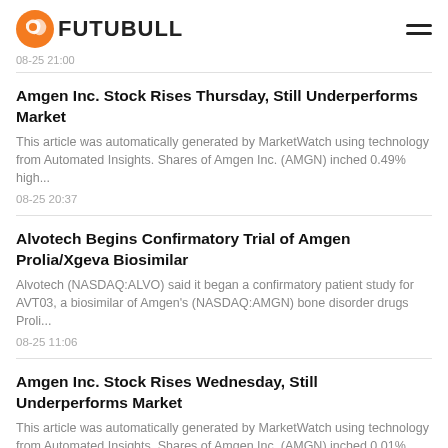FUTUBULL
08-25 21:00
Amgen Inc. Stock Rises Thursday, Still Underperforms Market — This article was automatically generated by MarketWatch using technology from Automated Insights. Shares of Amgen Inc. (AMGN) inched 0.49% high... — 08-25 20:37
Alvotech Begins Confirmatory Trial of Amgen Prolia/Xgeva Biosimilar — Alvotech (NASDAQ:ALVO) said it began a confirmatory patient study for AVT03, a biosimilar of Amgen's (NASDAQ:AMGN) bone disorder drugs Proli... — 08-25 11:06
Amgen Inc. Stock Rises Wednesday, Still Underperforms Market — This article was automatically generated by MarketWatch using technology from Automated Insights. Shares of Amgen Inc. (AMGN) inched 0.01% high... — 08-24 20:38
BMS Financial Advisors LLC Takes $546,000 Position in Amgen